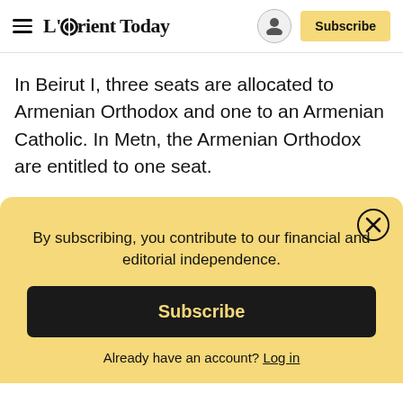L'Orient Today — Subscribe
In Beirut I, three seats are allocated to Armenian Orthodox and one to an Armenian Catholic. In Metn, the Armenian Orthodox are entitled to one seat.
By subscribing, you contribute to our financial and editorial independence.
Subscribe
Already have an account? Log in